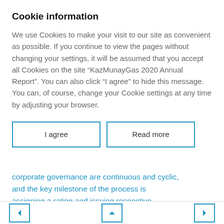Cookie information
We use Cookies to make your visit to our site as convenient as possible. If you continue to view the pages without changing your settings, it will be assumed that you accept all Cookies on the site “KazMunayGas 2020 Annual Report”. You can also click “I agree” to hide this message. You can, of course, change your Cookie settings at any time by adjusting your browser.
I agree
Read more
corporate governance are continuous and cyclic, and the key milestone of the process is assigning a rating and issuing respective